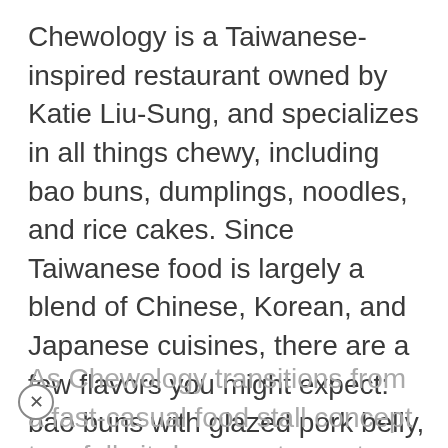Chewology is a Taiwanese-inspired restaurant owned by Katie Liu-Sung, and specializes in all things chewy, including bao buns, dumplings, noodles, and rice cakes. Since Taiwanese food is largely a blend of Chinese, Korean, and Japanese cuisines, there are a few flavors you might expect: bao buns with glazed pork belly, pickles, and peanut crunch, as well as beef and kimchi dumplings. But then there are some that might surprise you, like dumplings stuffed with goat cheese, apricots, scallions, local honey, and almonds; or chili-pickled pineapples.
As Chewology transitions from a fast-casual food stall concept to a full sit-down restaurant, a